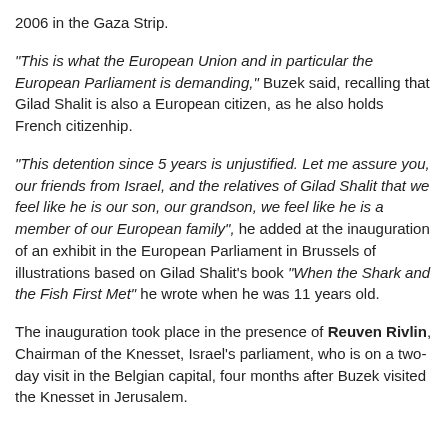2006 in the Gaza Strip.
"This is what the European Union and in particular the European Parliament is demanding," Buzek said, recalling that Gilad Shalit is also a European citizen, as he also holds French citizenhip.
"This detention since 5 years is unjustified. Let me assure you, our friends from Israel, and the relatives of Gilad Shalit that we feel like he is our son, our grandson, we feel like he is a member of our European family", he added at the inauguration of an exhibit in the European Parliament in Brussels of illustrations based on Gilad Shalit's book "When the Shark and the Fish First Met" he wrote when he was 11 years old.
The inauguration took place in the presence of Reuven Rivlin, Chairman of the Knesset, Israel's parliament, who is on a two-day visit in the Belgian capital, four months after Buzek visited the Knesset in Jerusalem.